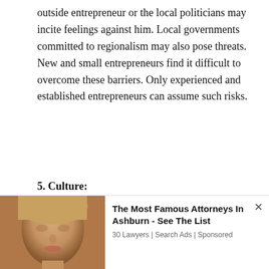outside entrepreneur or the local politicians may incite feelings against him. Local governments committed to regionalism may also pose threats. New and small entrepreneurs find it difficult to overcome these barriers. Only experienced and established entrepreneurs can assume such risks.
5. Culture:
The entrepreneurs uprooted from their traditional native places are more mobile than those who have not been, like a displaced person or a foreigner. They develop a more cosmopolitan outlook as they adjust themselves in new cultures and are free from the sanctions and bondages of their own culture.
6. Nature of Enterprise:
If the enterprise involves only expansion of the existing plant, the
[Figure (photo): Advertisement overlay showing a woman's face photo on the left, with ad text 'The Most Famous Attorneys In Ashburn - See The List' from '30 Lawyers | Search Ads | Sponsored' on the right, with a close (x) button.]